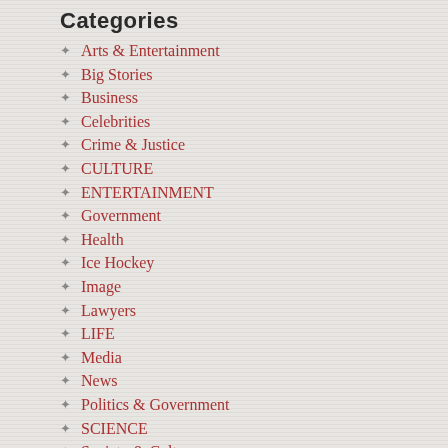Categories
Arts & Entertainment
Big Stories
Business
Celebrities
Crime & Justice
CULTURE
ENTERTAINMENT
Government
Health
Ice Hockey
Image
Lawyers
LIFE
Media
News
Politics & Government
SCIENCE
Society & Culture